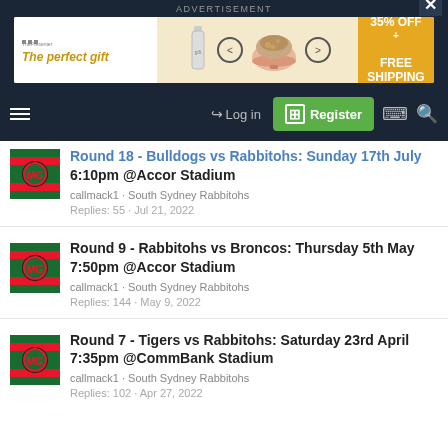[Figure (screenshot): Advertisement banner for 'The perfect gift' with bowl imagery and 35% OFF + FREE SHIPPING offer]
[Figure (screenshot): Navigation bar with hamburger menu, Log in, Register, document icon, and search icon]
Round 18 - Bulldogs vs Rabbitohs: Sunday 17th July 6:10pm @Accor Stadium
callmack1 · South Sydney Rabbitohs
Replies: 55 · Jul 21, 2022
Round 9 - Rabbitohs vs Broncos: Thursday 5th May 7:50pm @Accor Stadium
callmack1 · South Sydney Rabbitohs
Replies: 144 · May 9, 2022
Round 7 - Tigers vs Rabbitohs: Saturday 23rd April 7:35pm @CommBank Stadium
callmack1 · South Sydney Rabbitohs
Replies: 102 · Apr 27, 2022